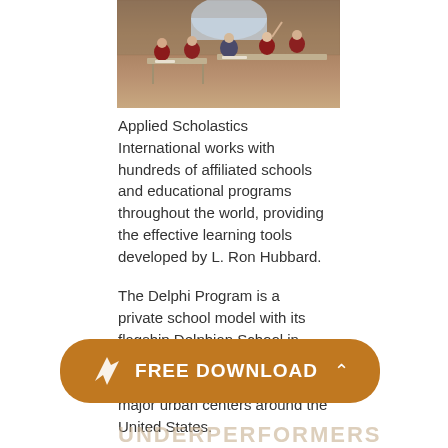[Figure (photo): Classroom photo showing children seated at desks working, with a teacher or student raising hand, brick wall and arched window in background]
Applied Scholastics International works with hundreds of affiliated schools and educational programs throughout the world, providing the effective learning tools developed by L. Ron Hubbard.
The Delphi Program is a private school model with its flagship Delphian School in Sheridan, Oregon, and a network of six other schools in major urban centers around the United States.
[Figure (infographic): Orange pill-shaped FREE DOWNLOAD button with a white leaf/arrow logo icon on the left and a caret/chevron on the right]
UNDERPERFORMERS